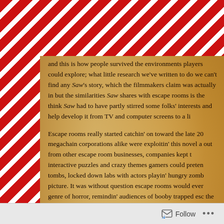and this is how people survived the environments players could explore; what little research we've written to do we can't find any Saw's story, which the filmmakers claim was actually in but the similarities Saw shares with escape rooms is there think Saw had to have partly stirred some folks' interests and help develop it from TV and computer screens to a li
Escape rooms really started catchin' on toward the late 20 megachain corporations alike were exploitin' this novel a out from other escape room businesses, companies kept t interactive puzzles and crazy themes gamers could preten tombs, locked down labs with actors playin' hungry zomb picture. It was without question escape rooms would ever genre of horror, remindin' audiences of booby trapped esc the Saw series, and maybe even The Collector movie
With the premier of the newest escape room flick, Esca ain't it?), we'd like to share what few escape room horror compare this newest movie to.
Follow ...